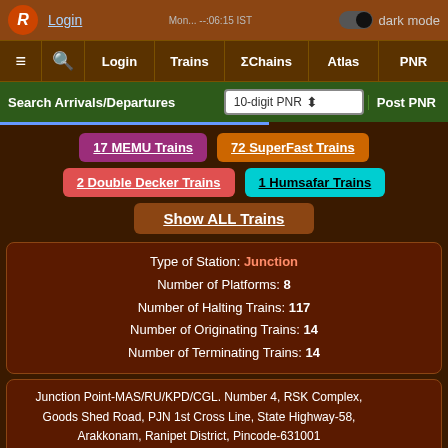Login | dark mode | ≡ 🔍 Login Trains ΣChains Atlas PNR
Search Arrivals/Departures | 10-digit PNR | Post PNR
17 MEMU Trains
72 SuperFast Trains
2 Double Decker Trains
1 Humsafar Trains
Show ALL Trains
Type of Station: Junction
Number of Platforms: 8
Number of Halting Trains: 117
Number of Originating Trains: 14
Number of Terminating Trains: 14
Junction Point-MAS/RU/KPD/CGL. Number 4, RSK Complex, Goods Shed Road, PJN 1st Cross Line, State Highway-58, Arakkonam, Ranipet District, Pincode-631001
State: Tamil Nadu
add/change address